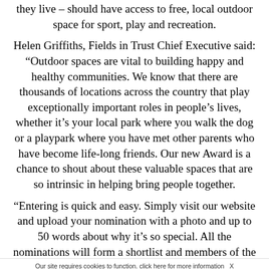they live – should have access to free, local outdoor space for sport, play and recreation.
Helen Griffiths, Fields in Trust Chief Executive said: “Outdoor spaces are vital to building happy and healthy communities. We know that there are thousands of locations across the country that play exceptionally important roles in people’s lives, whether it’s your local park where you walk the dog or a playpark where you have met other parents who have become life-long friends. Our new Award is a chance to shout about these valuable spaces that are so intrinsic in helping bring people together.
“Entering is quick and easy. Simply visit our website and upload your nomination with a photo and up to 50 words about why it’s so special. All the nominations will form a shortlist and members of the public will then cast their vote, so it’s worth mobilising support from your family and friends. More information the
Our site requires cookies to function. click here for more information X